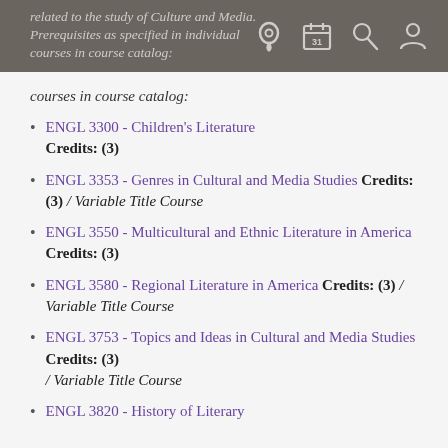related to the study of Culture and Media. Prerequisites as specified in individual courses in course catalog:
ENGL 3300 - Children's Literature Credits: (3)
ENGL 3353 - Genres in Cultural and Media Studies Credits: (3) / Variable Title Course
ENGL 3550 - Multicultural and Ethnic Literature in America Credits: (3)
ENGL 3580 - Regional Literature in America Credits: (3) / Variable Title Course
ENGL 3753 - Topics and Ideas in Cultural and Media Studies Credits: (3) / Variable Title Course
ENGL 3820 - History of Literary